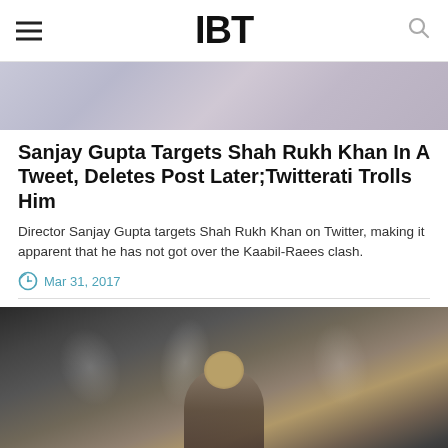IBT
[Figure (photo): Top partial image with blurred purple/grey tones]
Sanjay Gupta Targets Shah Rukh Khan In A Tweet, Deletes Post Later;Twitterati Trolls Him
Director Sanjay Gupta targets Shah Rukh Khan on Twitter, making it apparent that he has not got over the Kaabil-Raees clash.
Mar 31, 2017
[Figure (photo): Shah Rukh Khan wearing sunglasses performing on stage with bright lights in background]